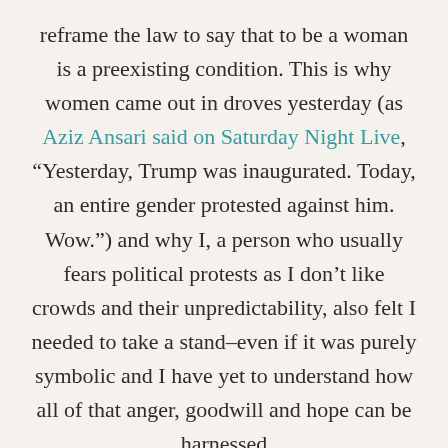reframe the law to say that to be a woman is a preexisting condition. This is why women came out in droves yesterday (as Aziz Ansari said on Saturday Night Live, “Yesterday, Trump was inaugurated. Today, an entire gender protested against him. Wow.”) and why I, a person who usually fears political protests as I don’t like crowds and their unpredictability, also felt I needed to take a stand–even if it was purely symbolic and I have yet to understand how all of that anger, goodwill and hope can be harnessed